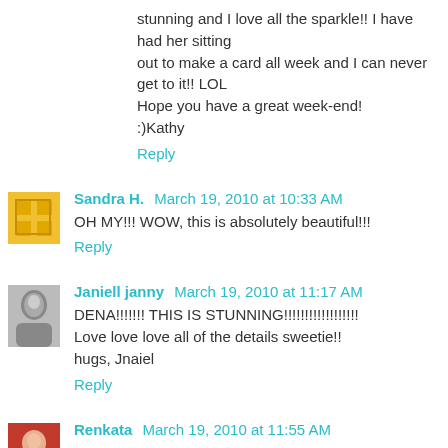stunning and I love all the sparkle!! I have had her sitting out to make a card all week and I can never get to it!! LOL Hope you have a great week-end!
:)Kathy
Reply
Sandra H. March 19, 2010 at 10:33 AM
OH MY!!! WOW, this is absolutely beautiful!!!
Reply
Janiell janny March 19, 2010 at 11:17 AM
DENA!!!!!!! THIS IS STUNNING!!!!!!!!!!!!!!!!!!
Love love love all of the details sweetie!!
hugs, Jnaiel
Reply
Renkata March 19, 2010 at 11:55 AM